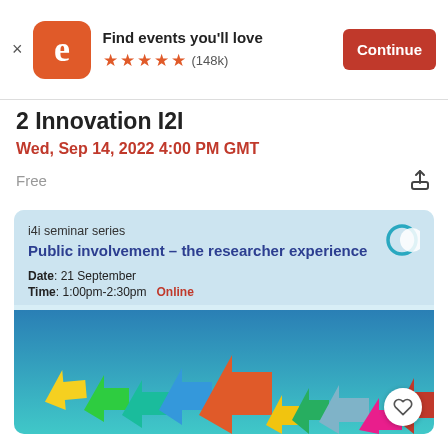[Figure (screenshot): Eventbrite app banner with orange rounded-square logo containing white 'e', text 'Find events you'll love', 5 orange stars rating, (148k) reviews, and orange 'Continue' button]
2 Innovation I2I
Wed, Sep 14, 2022 4:00 PM GMT
Free
[Figure (screenshot): Event card for 'i4i seminar series - Public involvement – the researcher experience', Date: 21 September, Time: 1:00pm-2:30pm, Online. Card has light blue background with colorful upward arrow graphic at bottom.]